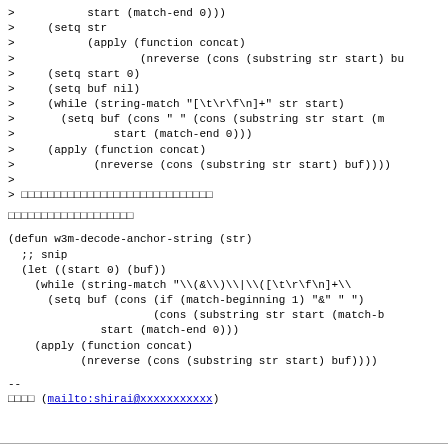Code block showing Lisp/Emacs Lisp REPL interaction with string-match, setq, apply, nreverse, cons, substring operations
Japanese text line (garbled/encoded characters)
Japanese text paragraph (garbled/encoded characters)
(defun w3m-decode-anchor-string (str)
  ;; snip
  (let ((start 0) (buf))
    (while (string-match "\\(&amp;\\)\\|\\([\t\r\f\n]+\\
      (setq buf (cons (if (match-beginning 1) "&" " ")
                      (cons (substring str start (match-b
              start (match-end 0)))
    (apply (function concat)
           (nreverse (cons (substring str start) buf))))
--
□□□□ (mailto:shirai@xxxxxxxxxxx)
horizontal rule